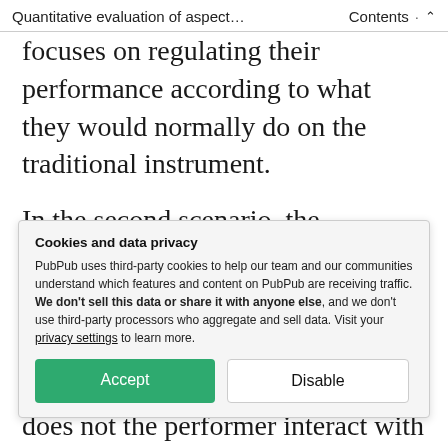Quantitative evaluation of aspect... Contents ^
focuses on regulating their performance according to what they would normally do on the traditional instrument.
In the second scenario, the augmentation produces a sonic output unguided by any meaningful intentionality on the part of the performer; the instrument reacts but
Cookies and data privacy
PubPub uses third-party cookies to help our team and our communities understand which features and content on PubPub are receiving traffic. We don't sell this data or share it with anyone else, and we don't use third-party processors who aggregate and sell data. Visit your privacy settings to learn more.
Accept | Disable